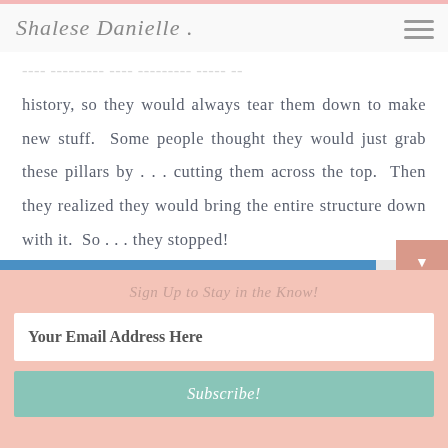Shalese Danielle
...these buildings were important parts of history, so they would always tear them down to make new stuff. Some people thought they would just grab these pillars by . . . cutting them across the top. Then they realized they would bring the entire structure down with it. So . . . they stopped!
Sign Up to Stay in the Know!
Your Email Address Here
Subscribe!